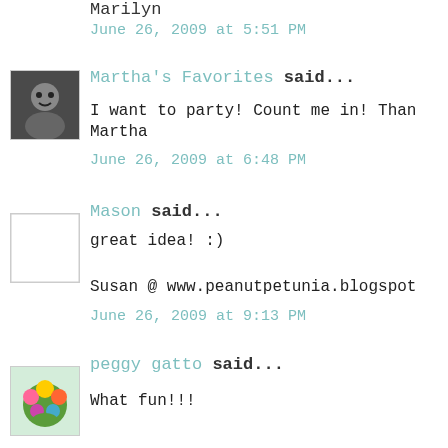Marilyn
June 26, 2009 at 5:51 PM
[Figure (photo): Avatar photo of Martha's Favorites commenter - person in dark clothing]
Martha's Favorites said...
I want to party! Count me in! Than
Martha
June 26, 2009 at 6:48 PM
[Figure (photo): Blank/placeholder avatar for Mason commenter]
Mason said...
great idea! :)
Susan @ www.peanutpetunia.blogspot
June 26, 2009 at 9:13 PM
[Figure (photo): Avatar photo of peggy gatto commenter - flowers bouquet]
peggy gatto said...
What fun!!!